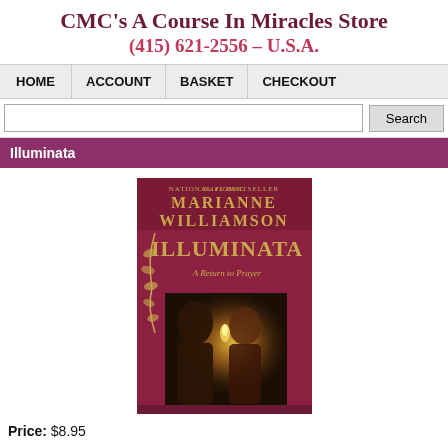CMC's A Course In Miracles Store
(415) 621-2556 – U.S.A.
| HOME | ACCOUNT | BASKET | CHECKOUT |
| --- | --- | --- | --- |
Illuminata
[Figure (photo): Book cover of 'Illuminata: A Return to Prayer' by Marianne Williamson. National #1 Bestseller. Dark red/maroon cover with gold lettering and a classical painting of two figures with candlelight at the bottom.]
Price: $8.95